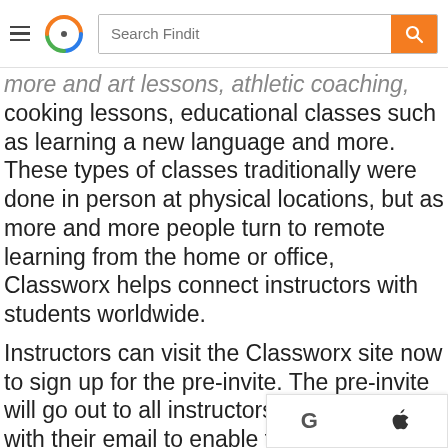Search Findit — navigation bar with hamburger menu, logo, and search field
more and art lessons, athletic coaching, cooking lessons, educational classes such as learning a new language and more. These types of classes traditionally were done in person at physical locations, but as more and more people turn to remote learning from the home or office, Classworx helps connect instructors with students worldwide.
Instructors can visit the Classworx site now to sign up for the pre-invite. The pre-invite will go out to all instructors who sign up with their email to enable them to become some of the first instructors on Classworx once the fully funct